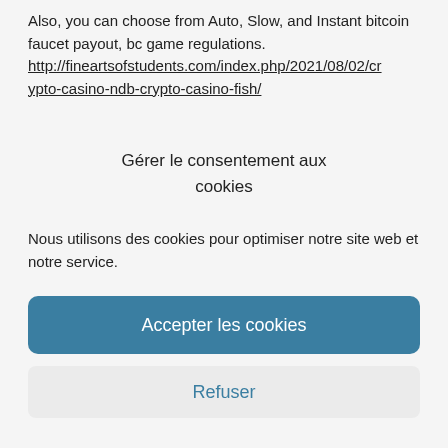Also, you can choose from Auto, Slow, and Instant bitcoin faucet payout, bc game regulations. http://fineartsofstudents.com/index.php/2021/08/02/crypto-casino-ndb-crypto-casino-fish/
Gérer le consentement aux cookies
Nous utilisons des cookies pour optimiser notre site web et notre service.
Accepter les cookies
Refuser
Voir les préférences